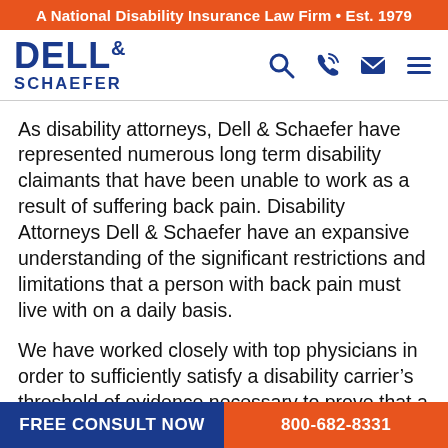A National Disability Insurance Law Firm • Est. 1979
[Figure (logo): Dell & Schaefer law firm logo with navigation icons]
As disability attorneys, Dell & Schaefer have represented numerous long term disability claimants that have been unable to work as a result of suffering back pain. Disability Attorneys Dell & Schaefer have an expansive understanding of the significant restrictions and limitations that a person with back pain must live with on a daily basis.
We have worked closely with top physicians in order to sufficiently satisfy a disability carrier's threshold of evidence necessary to prove that a client is disabled by back pain.
Not everyone suffering from back pain qualifies for long term disability benefits, therefore the medical
FREE CONSULT NOW   800-682-8331